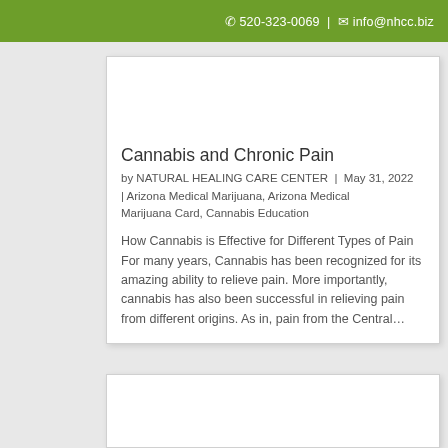📞 520-323-0069 | ✉ info@nhcc.biz
Cannabis and Chronic Pain
by NATURAL HEALING CARE CENTER | May 31, 2022 | Arizona Medical Marijuana, Arizona Medical Marijuana Card, Cannabis Education
How Cannabis is Effective for Different Types of Pain For many years, Cannabis has been recognized for its amazing ability to relieve pain. More importantly, cannabis has also been successful in relieving pain from different origins. As in, pain from the Central…